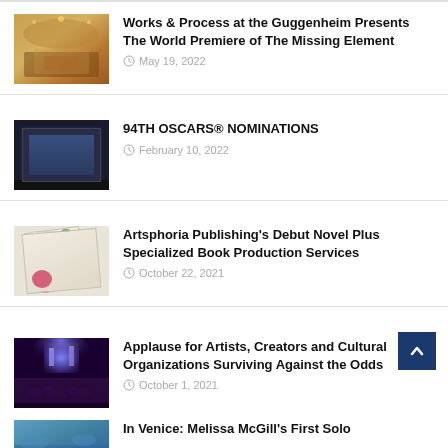[Figure (photo): Concert hall interior with warm golden lighting]
Works & Process at the Guggenheim Presents The World Premiere of The Missing Element
May 19, 2022
[Figure (photo): Television screen showing Oscar nominations announcement]
94TH OSCARS® NOMINATIONS
February 10, 2022
[Figure (photo): Open book with flowers, book cover photo]
Artsphoria Publishing's Debut Novel Plus Specialized Book Production Services
October 22, 2021
[Figure (photo): Concert crowd with stage lighting and purple/blue tones]
Applause for Artists, Creators and Cultural Organizations Surviving Against the Odds
October 1, 2021
[Figure (photo): Blue water scene in Venice]
In Venice: Melissa McGill's First Solo